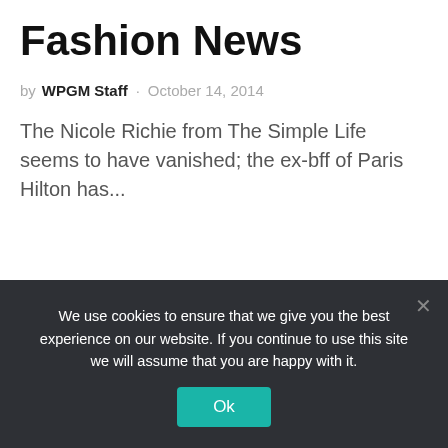Fashion News
by WPGM Staff · October 14, 2014
The Nicole Richie from The Simple Life seems to have vanished; the ex-bff of Paris Hilton has...
[Figure (other): Loading spinner circle indicator]
We use cookies to ensure that we give you the best experience on our website. If you continue to use this site we will assume that you are happy with it.